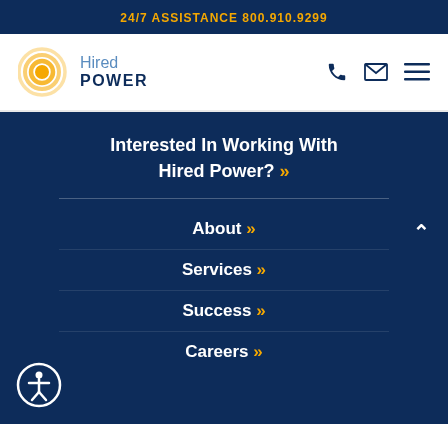24/7 ASSISTANCE 800.910.9299
[Figure (logo): Hired Power logo with circular orange graphic and blue text]
Interested In Working With Hired Power? »
About »
Services »
Success »
Careers »